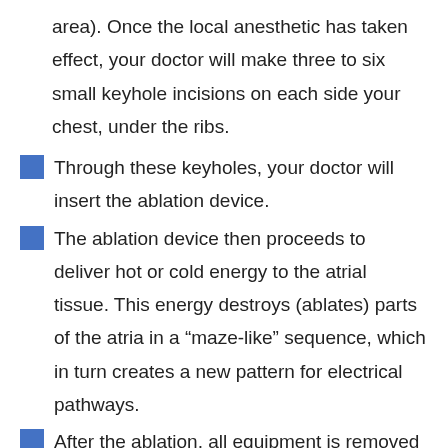area). Once the local anesthetic has taken effect, your doctor will make three to six small keyhole incisions on each side your chest, under the ribs.
Through these keyholes, your doctor will insert the ablation device.
The ablation device then proceeds to deliver hot or cold energy to the atrial tissue. This energy destroys (ablates) parts of the atria in a “maze-like” sequence, which in turn creates a new pattern for electrical pathways.
After the ablation, all equipment is removed out